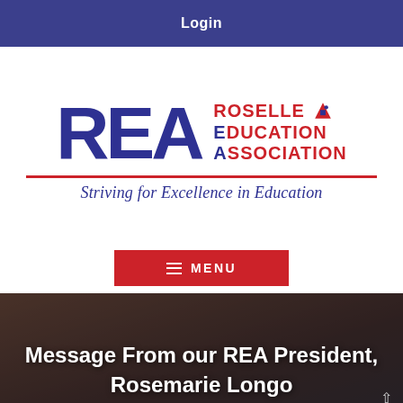Login
[Figure (logo): Roselle Education Association logo with large blue REA letters, red text reading ROSELLE EDUCATION ASSOCIATION, a small NEA icon, a red horizontal divider line, and the italic blue tagline 'Striving for Excellence in Education']
≡ MENU
Message From our REA President, Rosemarie Longo